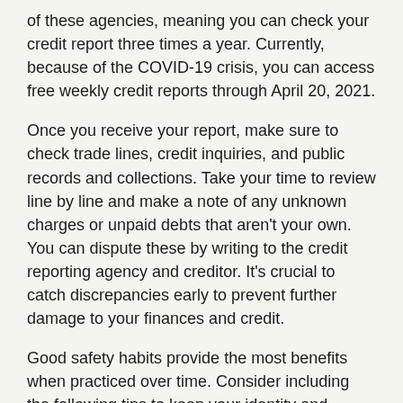of these agencies, meaning you can check your credit report three times a year. Currently, because of the COVID-19 crisis, you can access free weekly credit reports through April 20, 2021.
Once you receive your report, make sure to check trade lines, credit inquiries, and public records and collections. Take your time to review line by line and make a note of any unknown charges or unpaid debts that aren't your own. You can dispute these by writing to the credit reporting agency and creditor. It's crucial to catch discrepancies early to prevent further damage to your finances and credit.
Good safety habits provide the most benefits when practiced over time. Consider including the following tips to keep your identity and financial information safe through the rest of this year.
Keep your birthday and any other personal identifying information off of your social media accounts.
Avoid free trial offers or product samples as they may take your personal information such as your home